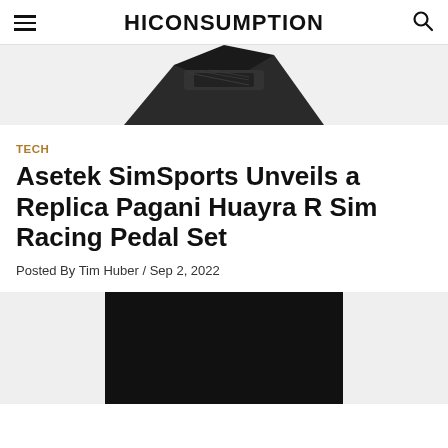HICONSUMPTION
[Figure (photo): Partial product image of a sim racing pedal set on a grey background, cropped at top of page]
TECH
Asetek SimSports Unveils a Replica Pagani Huayra R Sim Racing Pedal Set
Posted By Tim Huber / Sep 2, 2022
[Figure (photo): Dark/black product image of the Pagani Huayra R sim racing pedal set, partially visible at bottom of page]